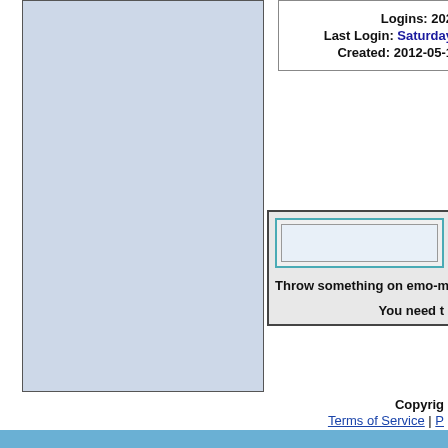[Figure (other): Light blue rectangular panel on the left side of the page]
Logins: 202
Last Login: Saturday
Created: 2012-05-1
[Figure (screenshot): A comment/form panel with a text input area and the text 'Throw something on emo-musi' and 'You need t']
Terms of Service | P
Copyright